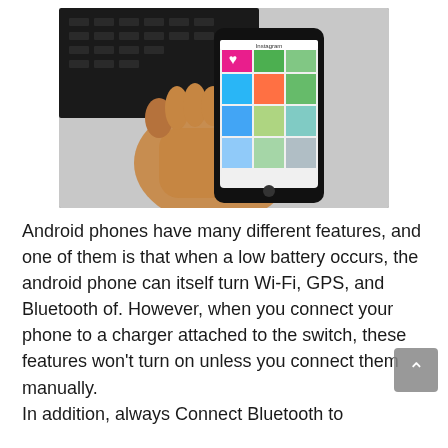[Figure (photo): A hand holding an Android smartphone displaying an Instagram-like photo grid, with a laptop keyboard visible in the background.]
Android phones have many different features, and one of them is that when a low battery occurs, the android phone can itself turn Wi-Fi, GPS, and Bluetooth of. However, when you connect your phone to a charger attached to the switch, these features won’t turn on unless you connect them manually.
In addition, always Connect Bluetooth to